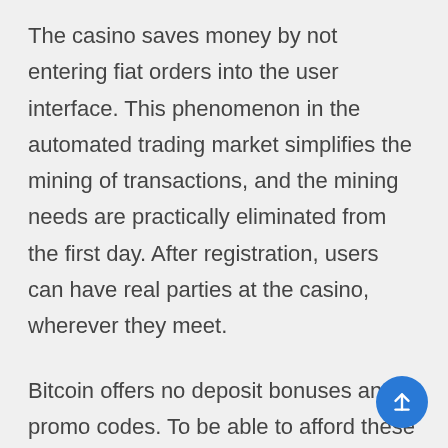The casino saves money by not entering fiat orders into the user interface. This phenomenon in the automated trading market simplifies the mining of transactions, and the mining needs are practically eliminated from the first day. After registration, users can have real parties at the casino, wherever they meet.
Bitcoin offers no deposit bonuses and promo codes. To be able to afford these bonuses, some bitcoin gamers need to make large deposits with one small transaction amount. The disadvantage of this concept is that the lucky ones only need to bet 250 bitcoins and get a few thousand dollars. This is mostly done